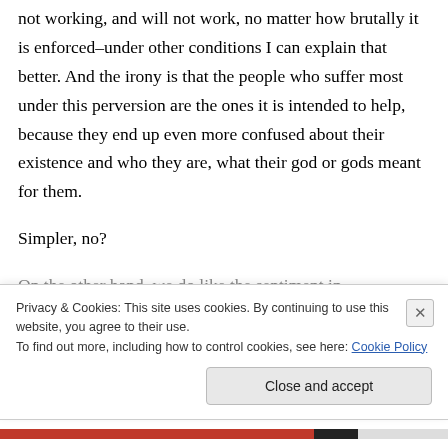not working, and will not work, no matter how brutally it is enforced–under other conditions I can explain that better. And the irony is that the people who suffer most under this perversion are the ones it is intended to help, because they end up even more confused about their existence and who they are, what their god or gods meant for them.
Simpler, no?
On the other hand, we do like the sentiment in
Privacy & Cookies: This site uses cookies. By continuing to use this website, you agree to their use.
To find out more, including how to control cookies, see here: Cookie Policy
Close and accept